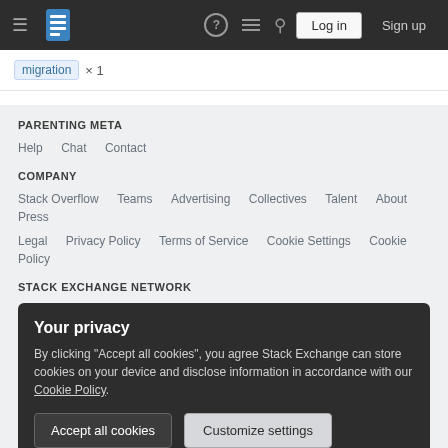≡ [Logo] ? ≡ 🔍 Log in Sign up
migration × 1
PARENTING META
Help  Chat  Contact
COMPANY
Stack Overflow  Teams  Advertising  Collectives  Talent  About  Press  Legal  Privacy Policy  Terms of Service  Cookie Settings  Cookie Policy
STACK EXCHANGE NETWORK
Your privacy
By clicking "Accept all cookies", you agree Stack Exchange can store cookies on your device and disclose information in accordance with our Cookie Policy.
Accept all cookies  Customize settings